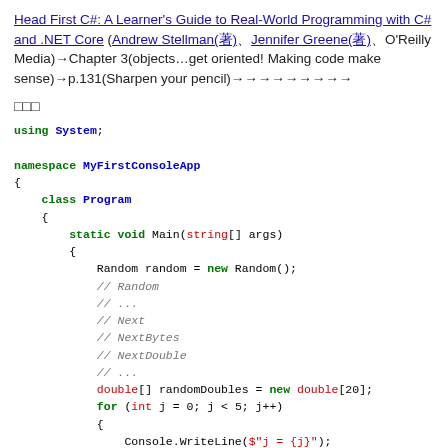Head First C#: A Learner's Guide to Real-World Programming with C# and .NET Core (Andrew Stellman(著)、Jennifer Greene(著)、O'Reilly Media)→Chapter 3(objects…get oriented! Making code make sense)→p.131(Sharpen your pencil)→→→→→→→→→
→→→
using System;

namespace MyFirstConsoleApp
{
    class Program
    {
        static void Main(string[] args)
        {
            Random random = new Random();
            // Random
            // ...
            // Next
            // NextBytes
            // NextDouble
            // ...
            double[] randomDoubles = new double[20];
            for (int j = 0; j < 5; j++)
            {
                Console.WriteLine($"j = {j}");
                for (int i = 0; i < 20; i++)
                {